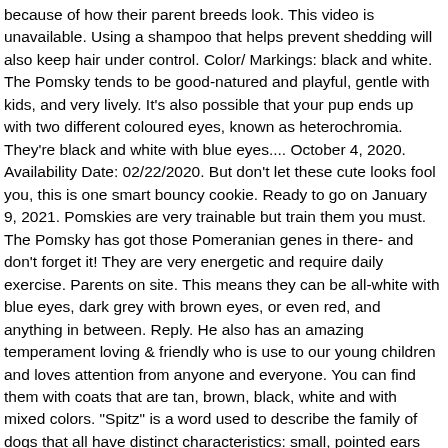because of how their parent breeds look. This video is unavailable. Using a shampoo that helps prevent shedding will also keep hair under control. Color/ Markings: black and white. The Pomsky tends to be good-natured and playful, gentle with kids, and very lively. It's also possible that your pup ends up with two different coloured eyes, known as heterochromia. They're black and white with blue eyes.... October 4, 2020. Availability Date: 02/22/2020. But don't let these cute looks fool you, this is one smart bouncy cookie. Ready to go on January 9, 2021. Pomskies are very trainable but train them you must. The Pomsky has got those Pomeranian genes in there- and don't forget it! They are very energetic and require daily exercise. Parents on site. This means they can be all-white with blue eyes, dark grey with brown eyes, or even red, and anything in between. Reply. He also has an amazing temperament loving & friendly who is use to our young children and loves attention from anyone and everyone. You can find them with coats that are tan, brown, black, white and with mixed colors. "Spitz" is a word used to describe the family of dogs that all have distinct characteristics: small, pointed ears with fur, thick double coats, almond-shaped eyes, and a fluffy tail that often curls over the back. Both breeds have no shortage of energy, and both breeds can have a tendency to carry a stubborn streak. Coat & Colors They can be white, black, or a combination of anything in between. Jason Gest. He is not for sale. She is bi-eyed and her left eye is a parti eye. So be prepared for slight deviations. If you are expecting a tiny teacup pooch forever, thi